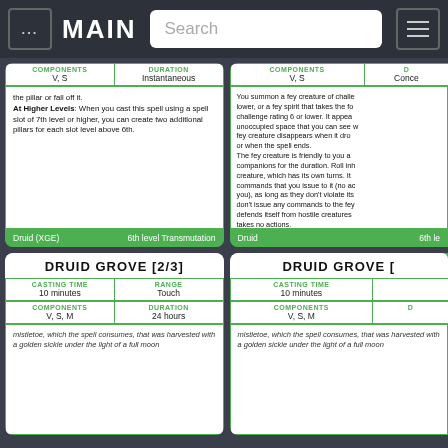... MAIN | Search
the pillar or fall off it. At Higher Levels: When you cast this spell using a spell slot of 7th level or higher, you can create two additional pillars for each slot level above 6th.
Druid (XGE) | 6th level Transmutation
You summon a fey creature of challenge rating 6 or lower, or a fey spirit that takes the form of a beast of challenge rating 6 or lower. It appears in an unoccupied space that you can see within range. The fey creature disappears when it drops to 0 hit points or when the spell ends. The fey creature is friendly to you and your companions for the duration. Roll initiative for the creature, which has its own turns. It obeys any verbal commands that you issue to it (no action required by you), as long as they don't violate its alignment. If you don't issue any commands to the fey creature, it defends itself from hostile creatures but otherwise takes no actions. If your concentration is broken, the fey creature doesn't disappear. Instead, you lose control of the creature, it becomes hostile toward you and your companions, and it might attack. An uncontrolled creature can't be dismissed by you, and it disappears 1 hour after you summoned it. The DM has the fey creature's statistics. At Higher Levels: When you cast this spell using a spell slot of 7th level or higher, the challenge rating increases by 1 for each slot level above 6th.
Druid | 6th le...
DRUID GROVE [2/3]
| CASTING TIME | RANGE |
| --- | --- |
| 10 minutes | Touch |
| COMPONENTS | DURATION |
| --- | --- |
| V, S, M | 24 hours |
mistletoe, which the spell consumes, that was harvested with a golden sickle under the light of a full moon
DRUID GROVE [
| CASTING TIME |  |
| --- | --- |
| 10 minutes |  |
| COMPONENTS | D |
| --- | --- |
| V, S, M |  |
mistletoe, which the spell consumes, that was harvested with a golden sickle under the light of a full moon